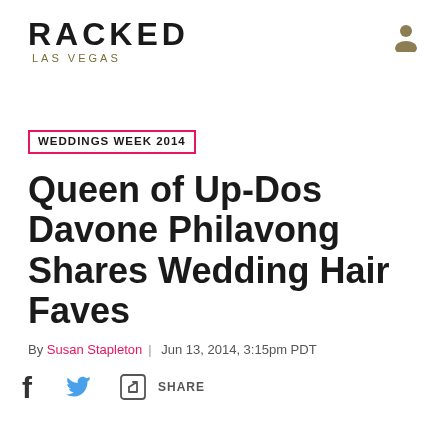RACKED LAS VEGAS
WEDDINGS WEEK 2014
Queen of Up-Dos Davone Philavong Shares Wedding Hair Faves
By Susan Stapleton | Jun 13, 2014, 3:15pm PDT
SHARE